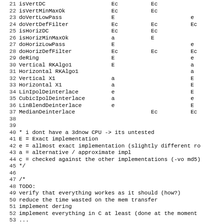Code listing lines 21-53 showing implementation table and comments
21 isVertDC   Ec  Ec
22 isVertMinMaxOk   Ec  Ec
23 doVertLowPass   E     e  e
24 doVertDefFilter   Ec  Ec  Ec
25 isHorizDC   Ec  Ec
26 isHorizMinMaxOk   a  E
27 doHorizLowPass   E     e  e
28 doHorizDefFilter   Ec  Ec  Ec
29 deRing   E     e  e*
30 Vertical RKAlgo1   E     a  a
31 Horizontal RKAlgo1        a  a
32 Vertical X1   a     E  E
33 Horizontal X1   a     E  E
34 LinIpolDeinterlace   e     E  E*
35 CubicIpolDeinterlace   a     e  e*
36 LinBlendDeinterlace   e     E  E*
37 MedianDeinterlace      Ec  Ec
38
39
40 * i dont have a 3dnow CPU -> its untested
41 E = Exact implementation
42 e = allmost exact implementation (slightly different ro
43 a = alternative / approximate impl
44 c = checked against the other implementations (-vo md5)
45 */
46
47 /*
48 TODO:
49 verify that everything workes as it should (how?)
50 reduce the time wasted on the mem transfer
51 implement dering
52 implement everything in C at least (done at the moment
53 ...